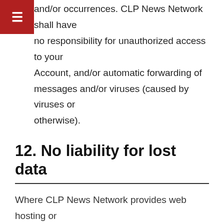in the preceding sections, and related transactions and/or occurrences. CLP News Network shall have no responsibility for unauthorized access to your Account, and/or automatic forwarding of messages and/or viruses (caused by viruses or otherwise).
12. No liability for lost data
Where CLP News Network provides web hosting or other services via the Services involving the provision of computer storage space, and/or in relation to other relevant services, CLP News Network reserves the right to impose and vary limits and/or restrictions (temporary or otherwise) on the use of the Service, including, without limitation, limits on the storage provided by